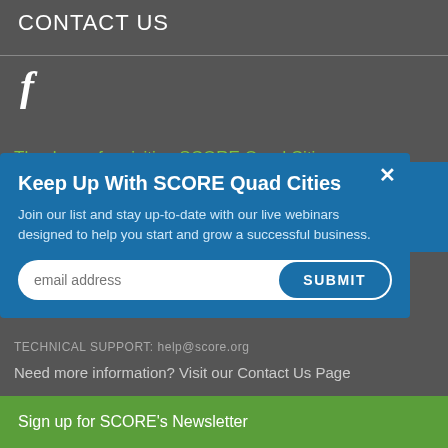CONTACT US
[Figure (other): Facebook logo icon (letter f) in white on dark grey background]
Thank you for visiting SCORE Quad Cities
Keep Up With SCORE Quad Cities
Join our list and stay up-to-date with our live webinars designed to help you start and grow a successful business.
email address [input field] SUBMIT [button]
TECHNICAL SUPPORT: help@score.org
Need more information? Visit our Contact Us Page
Sign up for SCORE's Newsletter